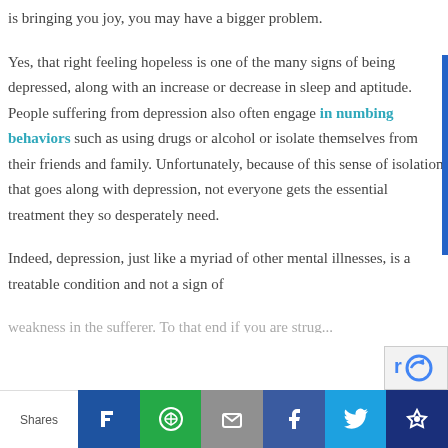is bringing you joy, you may have a bigger problem.
Yes, that right feeling hopeless is one of the many signs of being depressed, along with an increase or decrease in sleep and aptitude. People suffering from depression also often engage in numbing behaviors such as using drugs or alcohol or isolate themselves from their friends and family. Unfortunately, because of this sense of isolation that goes along with depression, not everyone gets the essential treatment they so desperately need.
Indeed, depression, just like a myriad of other mental illnesses, is a treatable condition and not a sign of weakness in the sufferer. To that end if you are struggling...
Shares | social share buttons